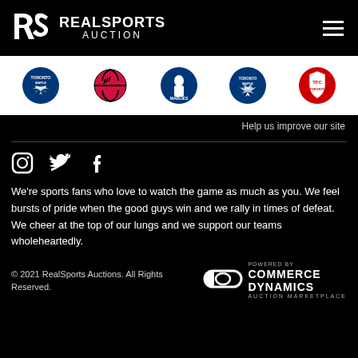REALSPORTS AUCTION
[Figure (logo): Five sports team logos: Toronto Maple Leafs, Toronto Raptors, Toronto Marlies, Toronto Maple Leafs (alt), Toronto FC]
Help us improve our site
[Figure (infographic): Social media icons: Instagram, Twitter, Facebook]
We're sports fans who love to watch the game as much as you. We feel bursts of pride when the good guys win and we rally in times of defeat. We cheer at the top of our lungs and we support our teams wholeheartedly.
© 2021 RealSports Auctions. All Rights Reserved. | POWERED BY COMMERCE DYNAMICS AUCTION MARKETPLACE